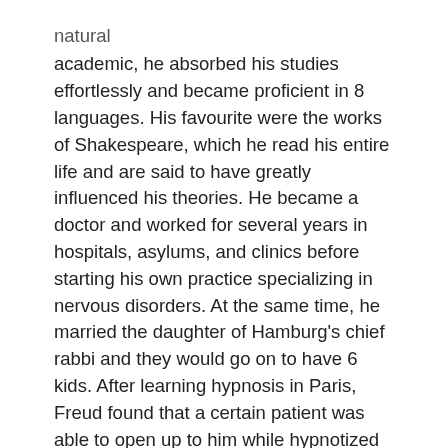natural academic, he absorbed his studies effortlessly and became proficient in 8 languages. His favourite were the works of Shakespeare, which he read his entire life and are said to have greatly influenced his theories. He became a doctor and worked for several years in hospitals, asylums, and clinics before starting his own practice specializing in nervous disorders. At the same time, he married the daughter of Hamburg's chief rabbi and they would go on to have 6 kids. After learning hypnosis in Paris, Freud found that a certain patient was able to open up to him while hypnotized and in the process of talking out her problems, brought about her own relief. Freud realized that patients need only be guided to speak freely, with no need for hypnosis. He also found that much of their issues were reflected in their dreams. By 1896, he abandoned hypnosis entirely and created “psychoanalysis”. From his own experiences and that of his patients, he put together a series of new theories about the mind, emotions, consciousness, religion, dreams, and sexuality. He published